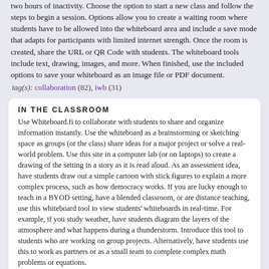two hours of inactivity. Choose the option to start a new class and follow the steps to begin a session. Options allow you to create a waiting room where students have to be allowed into the whiteboard area and include a save mode that adapts for participants with limited internet strength. Once the room is created, share the URL or QR Code with students. The whiteboard tools include text, drawing, images, and more. When finished, use the included options to save your whiteboard as an image file or PDF document.
tag(s): collaboration (82), iwb (31)
IN THE CLASSROOM
Use Whiteboard.fi to collaborate with students to share and organize information instantly. Use the whiteboard as a brainstorming or sketching space as groups (or the class) share ideas for a major project or solve a real-world problem. Use this site in a computer lab (or on laptops) to create a drawing of the setting in a story as it is read aloud. As an assessment idea, have students draw out a simple cartoon with stick figures to explain a more complex process, such as how democracy works. If you are lucky enough to teach in a BYOD setting, have a blended classroom, or are distance teaching, use this whiteboard tool to view students' whiteboards in real-time. For example, if you study weather, have students diagram the layers of the atmosphere and what happens during a thunderstorm. Introduce this tool to students who are working on group projects. Alternatively, have students use this to work as partners or as a small team to complete complex math problems or equations.